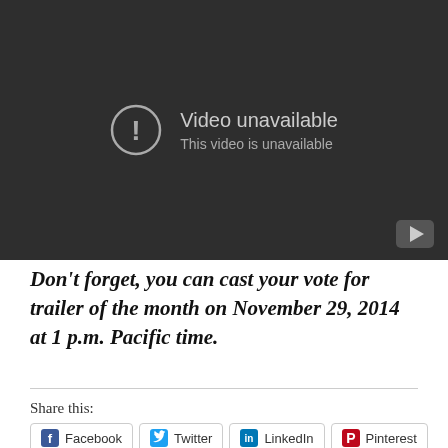[Figure (screenshot): YouTube video player showing 'Video unavailable' error message with exclamation icon. Dark gray background with YouTube logo button in bottom right corner.]
Don't forget, you can cast your vote for trailer of the month on November 29, 2014 at 1 p.m. Pacific time.
Share this:
Facebook  Twitter  LinkedIn  Pinterest